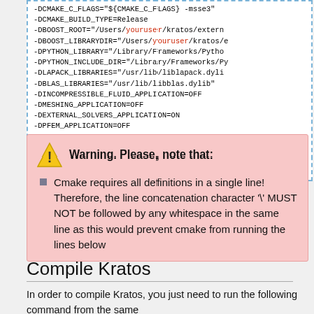-DCMAKE_C_FLAGS="${CMAKE_C_FLAGS} -msse3"
-DCMAKE_BUILD_TYPE=Release
-DBOOST_ROOT="/Users/youruser/kratos/externa
-DBOOST_LIBRARYDIR="/Users/youruser/kratos/e
-DPYTHON_LIBRARY="/Library/Frameworks/Pytho
-DPYTHON_INCLUDE_DIR="/Library/Frameworks/Py
-DLAPACK_LIBRARIES="/usr/lib/liblapack.dyli
-DBLAS_LIBRARIES="/usr/lib/libblas.dylib"
-DINCOMPRESSIBLE_FLUID_APPLICATION=OFF
-DMESHING_APPLICATION=OFF
-DEXTERNAL_SOLVERS_APPLICATION=ON
-DPFEM_APPLICATION=OFF
-DSTRUCTURAL_APPLICATION=OFF
-DCONVECTION_DIFFUSION_APPLICATION=ON
-DINSTALL_EMBEDDED_PYTHON=ON
-DEXCLUDE_ITSOL=ON
Warning. Please, note that: Cmake requires all definitions in a single line! Therefore, the line concatenation character '\' MUST NOT be followed by any whitespace in the same line as this would prevent cmake from running the lines below
Compile Kratos
In order to compile Kratos, you just need to run the following command from the same